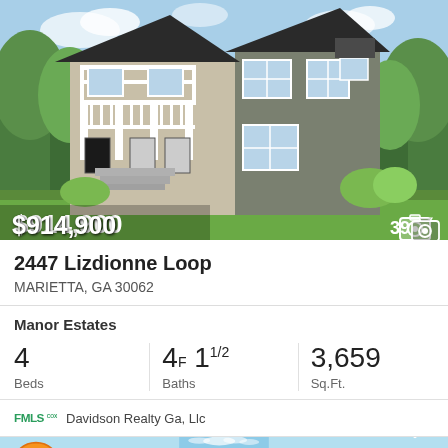[Figure (photo): Two-story house rendering with beige and gray/olive siding, white porch columns, double garage, green lawn and trees. Price overlay $914,900, photo count 39.]
2447 Lizdionne Loop
MARIETTA, GA 30062
Manor Estates
4 Beds   4F 11/2 Baths   3,659 Sq.Ft.
FMLS Davidson Realty Ga, Llc
[Figure (photo): Bottom strip showing sky/clouds background with accessibility icon and heart icon]